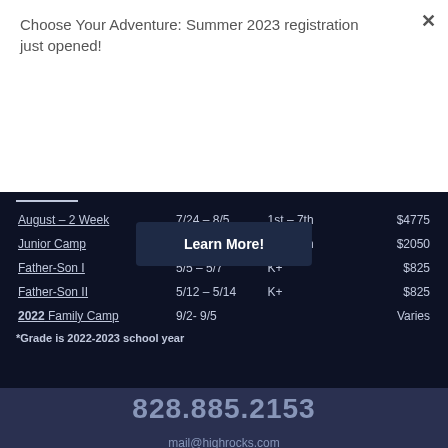Choose Your Adventure: Summer 2023 registration just opened!
Learn More!
| Camp | Dates | Grade | Price |
| --- | --- | --- | --- |
| August – 2 Week | 7/24 – 8/5 | 1st – 7th | $4775 |
| Junior Camp | 8/7 – 8/12 | 1st – 4th | $2050 |
| Father-Son I | 5/5 – 5/7 | K+ | $825 |
| Father-Son II | 5/12 – 5/14 | K+ | $825 |
| 2022 Family Camp | 9/2- 9/5 |  | Varies |
*Grade is 2022-2023 school year
828.885.2153
mail@highrocks.com
Camp High Rocks • 1234 High Rocks Road